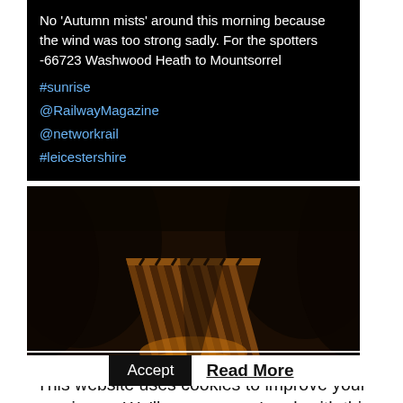No 'Autumn mists' around this morning because the wind was too strong sadly. For the spotters -66723 Washwood Heath to Mountsorrel
#sunrise
@RailwayMagazine
@networkrail
#leicestershire
[Figure (photo): Aerial or top-down view of a wooden freight rail wagon/gondola car on dark-toned tracks, illuminated from below with warm amber light, surrounded by dark foliage.]
This website uses cookies to improve your experience. We'll assume you're ok with this, but you can opt-out if you wish.
Accept   Read More